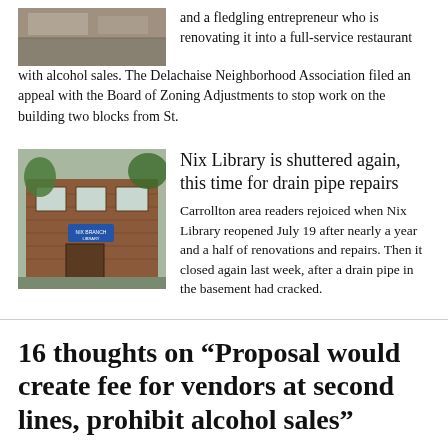[Figure (photo): Partial photo of a building exterior, bottom portion visible, concrete or flooring visible.]
and a fledgling entrepreneur who is renovating it into a full-service restaurant with alcohol sales. The Delachaise Neighborhood Association filed an appeal with the Board of Zoning Adjustments to stop work on the building two blocks from St.
[Figure (photo): Photo of a brick library building with a sign reading NIX BRANCH LIBRARY, trees visible, front entrance shown.]
Nix Library is shuttered again, this time for drain pipe repairs
Carrollton area readers rejoiced when Nix Library reopened July 19 after nearly a year and a half of renovations and repairs. Then it closed again last week, after a drain pipe in the basement had cracked.
16 thoughts on “Proposal would create fee for vendors at second lines, prohibit alcohol sales”